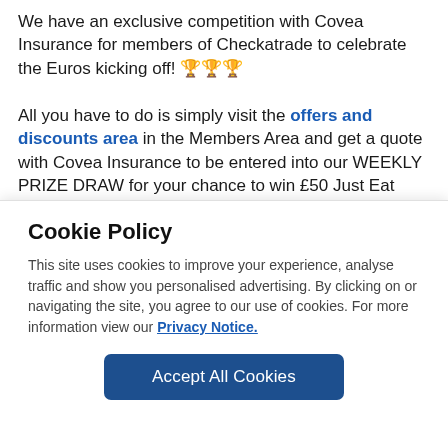We have an exclusive competition with Covea Insurance for members of Checkatrade to celebrate the Euros kicking off! 🏆🏆🏆

All you have to do is simply visit the offers and discounts area in the Members Area and get a quote with Covea Insurance to be entered into our WEEKLY PRIZE DRAW for your chance to win £50 Just Eat vouchers during Euro 2024
Cookie Policy
This site uses cookies to improve your experience, analyse traffic and show you personalised advertising. By clicking on or navigating the site, you agree to our use of cookies. For more information view our Privacy Notice.
Accept All Cookies